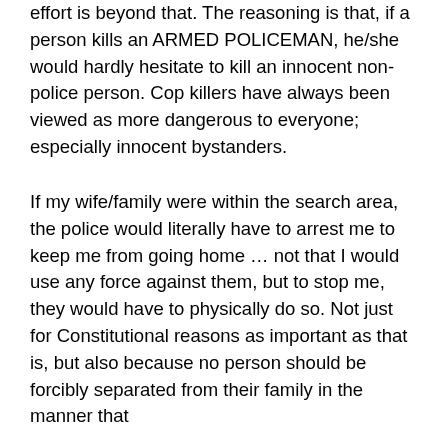effort is beyond that. The reasoning is that, if a person kills an ARMED POLICEMAN, he/she would hardly hesitate to kill an innocent non-police person. Cop killers have always been viewed as more dangerous to everyone; especially innocent bystanders.
If my wife/family were within the search area, the police would literally have to arrest me to keep me from going home … not that I would use any force against them, but to stop me, they would have to physically do so. Not just for Constitutional reasons as important as that is, but also because no person should be forcibly separated from their family in the manner that